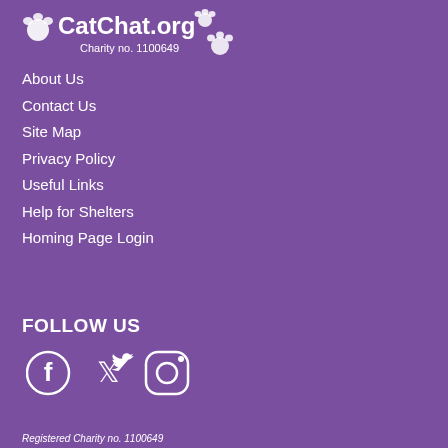[Figure (logo): CatChat.org logo with paw prints and text 'Charity no. 1100649']
About Us
Contact Us
Site Map
Privacy Policy
Useful Links
Help for Shelters
Homing Page Login
FOLLOW US
[Figure (illustration): Social media icons: Facebook, Twitter, Instagram]
Registered Charity no. 1100649